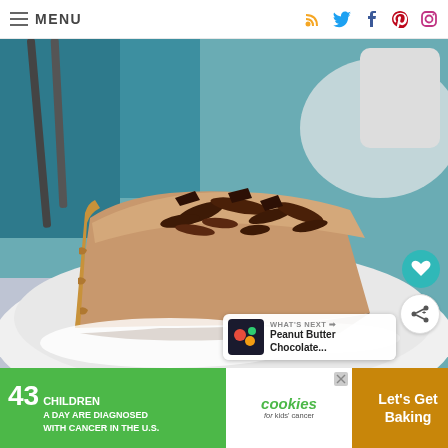MENU
[Figure (photo): A slice of peanut butter chocolate pie with a graham cracker crust, topped with chocolate shavings, served on a white plate. Background shows a teal napkin and white cup.]
WHAT'S NEXT → Peanut Butter Chocolate...
[Figure (infographic): Advertisement banner: '43 CHILDREN A Day Are Diagnosed With Cancer in the U.S.' with cookies for kids' cancer logo and 'Let's Get Baking' text]